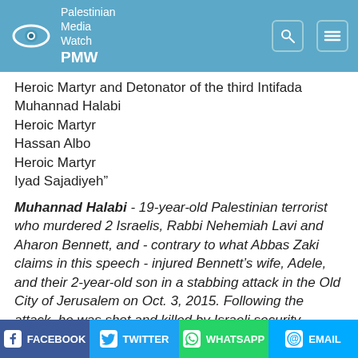Palestinian Media Watch
Heroic Martyr and Detonator of the third Intifada
Muhannad Halabi
Heroic Martyr
Hassan Albo
Heroic Martyr
Iyad Sajadiyeh”
Muhannad Halabi - 19-year-old Palestinian terrorist who murdered 2 Israelis, Rabbi Nehemiah Lavi and Aharon Bennett, and - contrary to what Abbas Zaki claims in this speech - injured Bennett’s wife, Adele, and their 2-year-old son in a stabbing attack in the Old City of Jerusalem on Oct. 3, 2015. Following the attack, he was shot and killed by Israeli security forces.
FACEBOOK | TWITTER | WHATSAPP | EMAIL